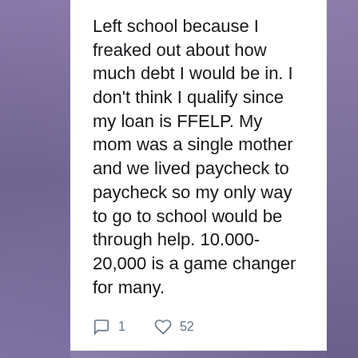Left school because I freaked out about how much debt I would be in. I don't think I qualify since my loan is FFELP. My mom was a single mother and we lived paycheck to paycheck so my only way to go to school would be through help. 10.000-20,000 is a game changer for many.
1   52
Dr. Jason Johnson Retweeted
R. Rebel @rustilev · 40m
Replying to @DrJasonJohnson
And, trump had no way of delivering vaccines in October 2020. He never worked out any important logistic details. All